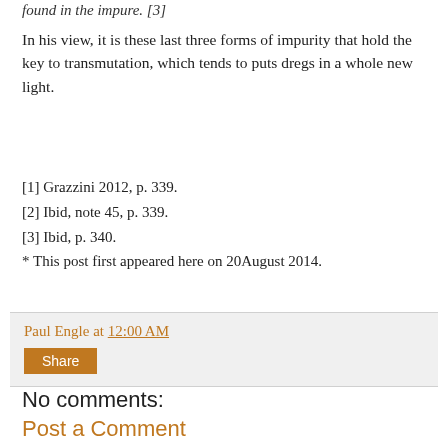found in the impure. [3]
In his view, it is these last three forms of impurity that hold the key to transmutation, which tends to puts dregs in a whole new light.
[1] Grazzini 2012, p. 339.
[2] Ibid, note 45, p. 339.
[3] Ibid, p. 340.
* This post first appeared here on 20August 2014.
Paul Engle at 12:00 AM
Share
No comments:
Post a Comment